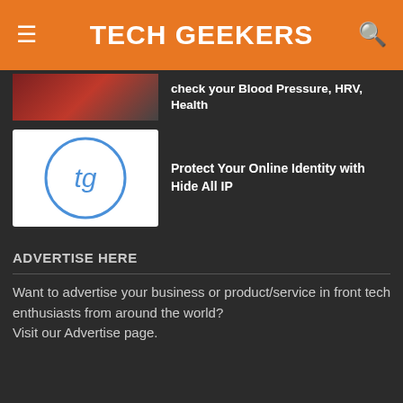TECH GEEKERS
check your Blood Pressure, HRV, Health
Protect Your Online Identity with Hide All IP
ADVERTISE HERE
Want to advertise your business or product/service in front tech enthusiasts from around the world?
Visit our Advertise page.
QUICK NAVIGATION
Contact
Advertisement
Privacy Policy